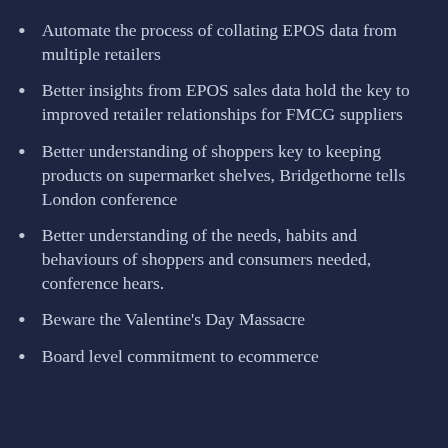Automate the process of collating EPOS data from multiple retailers
Better insights from EPOS sales data hold the key to improved retailer relationships for FMCG suppliers
Better understanding of shoppers key to keeping products on supermarket shelves, Bridgethorne tells London conference
Better understanding of the needs, habits and behaviours of shoppers and consumers needed, conference hears.
Beware the Valentine's Day Massacre
Board level commitment to ecommerce